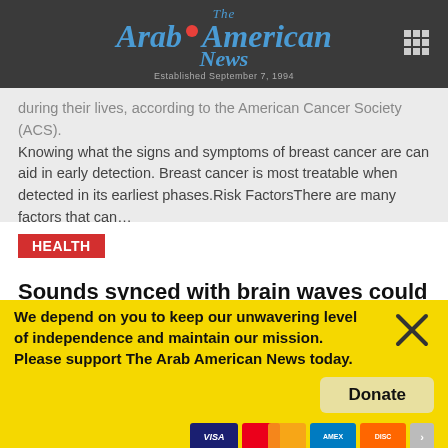The Arab American News — Established September 7, 1994
during their lives, according to the American Cancer Society (ACS). Knowing what the signs and symptoms of breast cancer are can aid in early detection. Breast cancer is most treatable when detected in its earliest phases.Risk FactorsThere are many factors that can…
HEALTH
Sounds synced with brain waves could help enhance memory during sleep, study suggest
A small study published in the journal Neuron shows that when sounds are played during sleep that go along with the slow oscillations in brain waves that occur during sleep, it actually helps to enhance
We depend on you to keep our unwavering level of independence and maintain our mission. Please support The Arab American News today.